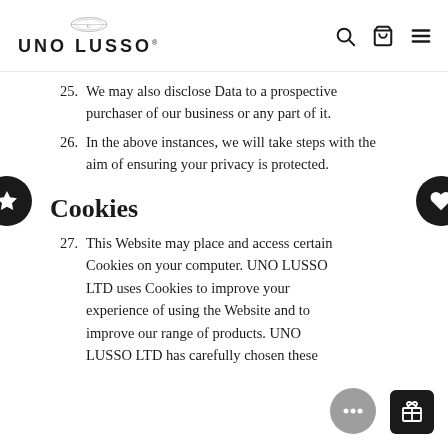UNO LUSSO
25. We may also disclose Data to a prospective purchaser of our business or any part of it.
26. In the above instances, we will take steps with the aim of ensuring your privacy is protected.
Cookies
27. This Website may place and access certain Cookies on your computer. UNO LUSSO LTD uses Cookies to improve your experience of using the Website and to improve our range of products. UNO LUSSO LTD has carefully chosen these